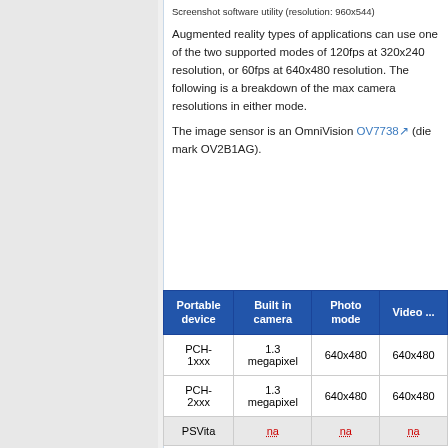Screenshot software utility (resolution: 960x544)
Augmented reality types of applications can use one of the two supported modes of 120fps at 320x240 resolution, or 60fps at 640x480 resolution. The following is a breakdown of the max camera resolutions in either mode.
The image sensor is an OmniVision OV7738 (die mark OV2B1AG).
| Portable device | Built in camera | Photo mode | Video ... |
| --- | --- | --- | --- |
| PCH-1xxx | 1.3 megapixel | 640x480 | 640x480 |
| PCH-2xxx | 1.3 megapixel | 640x480 | 640x480 |
| PSVita | na | na | na |